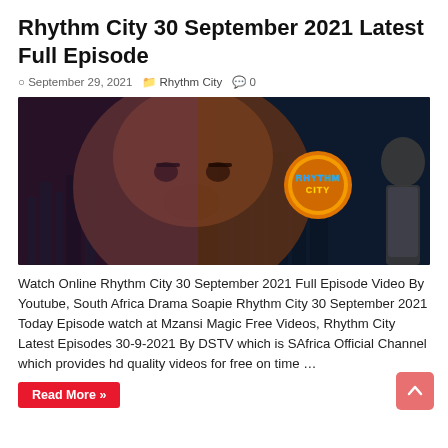Rhythm City 30 September 2021 Latest Full Episode
September 29, 2021   Rhythm City   0
[Figure (photo): Promotional thumbnail for Rhythm City TV show featuring a close-up of a man's face with a city skyline overlay and the Rhythm City logo (glowing orange circle with blue/yellow text) on the right, with a woman visible on the far right edge.]
Watch Online Rhythm City 30 September 2021 Full Episode Video By Youtube, South Africa Drama Soapie Rhythm City 30 September 2021 Today Episode watch at Mzansi Magic Free Videos, Rhythm City Latest Episodes 30-9-2021 By DSTV which is SAfrica Official Channel which provides hd quality videos for free on time …